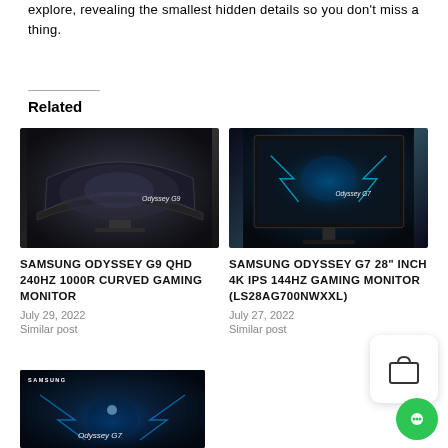explore, revealing the smallest hidden details so you don't miss a thing.
Related
[Figure (photo): Samsung Odyssey G9 curved gaming monitor on stand, ultrawide curved screen with dark ambient display]
SAMSUNG ODYSSEY G9 QHD 240hz 1000R CURVED GAMING MONITOR
July 29, 2022
Similar post
[Figure (photo): Samsung Odyssey G7 28 inch gaming monitor on stand with blue neon gaming artwork on screen]
SAMSUNG ODYSSEY G7 28" INCH 4K IPS 144HZ GAMING MONITOR (LS28AG700NWXXL)
July 27, 2022
Similar post
[Figure (photo): Samsung Odyssey G7 monitor with blue glowing gaming artwork, Samsung branding visible at top]